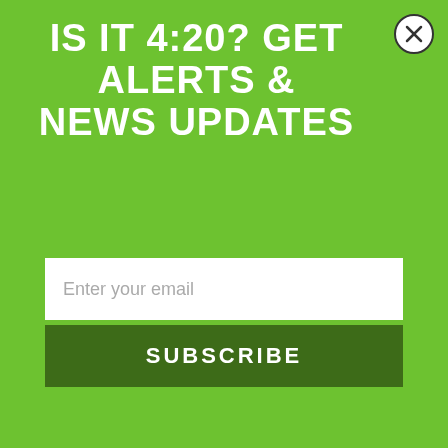IS IT 4:20? GET ALERTS & NEWS UPDATES
over t shirts they made for their group that featured a marijuana leaf on one side, and the school's mascot Cy the Cardinal in place of the “O” in NORML.
While the group thought it was a clever way to combine what their group stands for and some school spirit, school administrators were not quite as impressed. Even though the initial design was approved by the school, by the time the shirts actually came around and were seen out in public, they were suddenly singing a  different tune, telling them the shirts were banned because the school does not